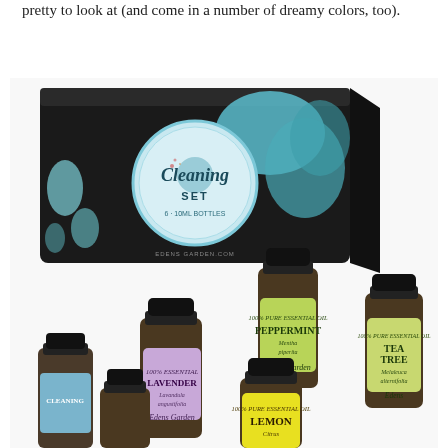pretty to look at (and come in a number of dreamy colors, too).
[Figure (photo): An Edens Garden essential oil Cleaning Set box (black with teal botanical design) surrounded by several small amber bottles of essential oils including Lavender, Peppermint, Tea Tree, Lemon, and others, arranged on a white background.]